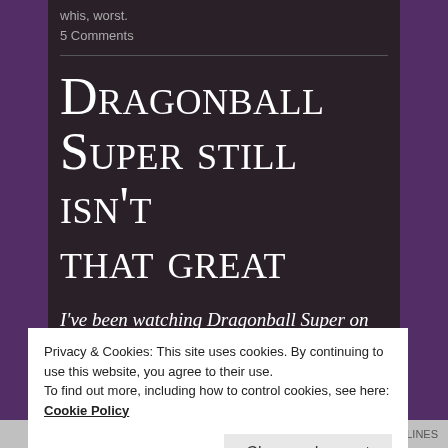whis, worst.
5 Comments
Dragonball Super still isn't that great
I've been watching Dragonball Super on and off. I wrote about it once before on here, specifically
Privacy & Cookies: This site uses cookies. By continuing to use this website, you agree to their use.
To find out more, including how to control cookies, see here:
Cookie Policy
Close and accept